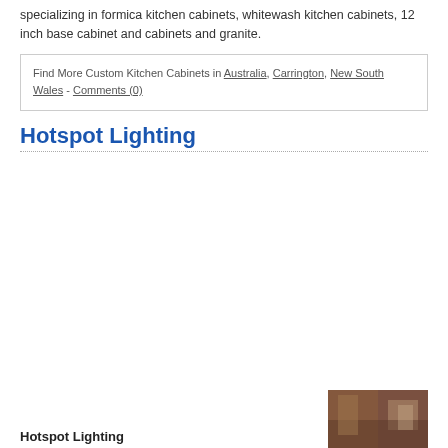specializing in formica kitchen cabinets, whitewash kitchen cabinets, 12 inch base cabinet and cabinets and granite.
Find More Custom Kitchen Cabinets in Australia, Carrington, New South Wales - Comments (0)
Hotspot Lighting
Hotspot Lighting
[Figure (photo): Partial photo of kitchen or lighting scene, brown/dark toned image on bottom right]